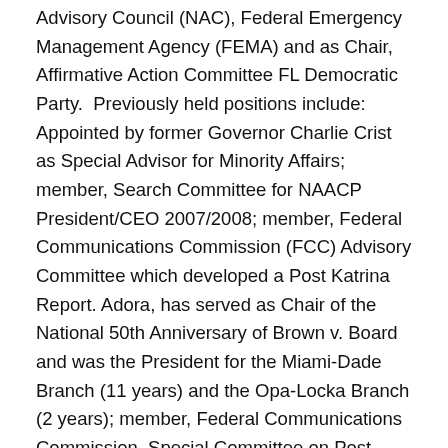She was appointed in 2021 as a member, National Advisory Council (NAC), Federal Emergency Management Agency (FEMA) and as Chair, Affirmative Action Committee FL Democratic Party.  Previously held positions include: Appointed by former Governor Charlie Crist as Special Advisor for Minority Affairs; member, Search Committee for NAACP President/CEO 2007/2008; member, Federal Communications Commission (FCC) Advisory Committee which developed a Post Katrina Report. Adora, has served as Chair of the National 50th Anniversary of Brown v. Board and was the President for the Miami-Dade Branch (11 years) and the Opa-Locka Branch (2 years); member, Federal Communications Commission, Special Committee on Post Katrina; Coordinator, Disaster Relief and Region V, Coordinator Women In NAACP (WIN) Committee.  She spearheaded lawsuits that were filed by the Florida State Conference to